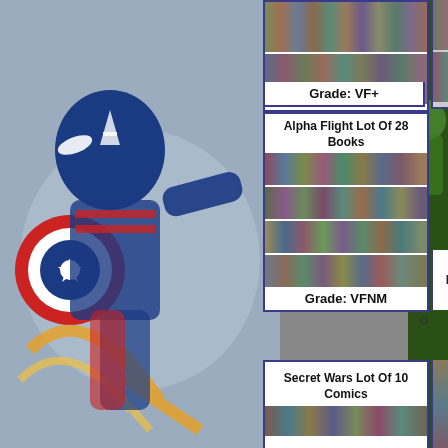[Figure (illustration): Background comic book artwork featuring Captain America in action, with blue, red, white and yellow tones]
[Figure (photo): Comic book lot photo showing multiple comic books arranged in rows]
Grade: VF+
Alpha Flight Lot Of 28 Books
[Figure (photo): Alpha Flight comic books arranged in four rows showing 28 books]
Grade: VFNM
Secret Wars Lot Of 10 Comics
[Figure (photo): Secret Wars comic books (partial view)]